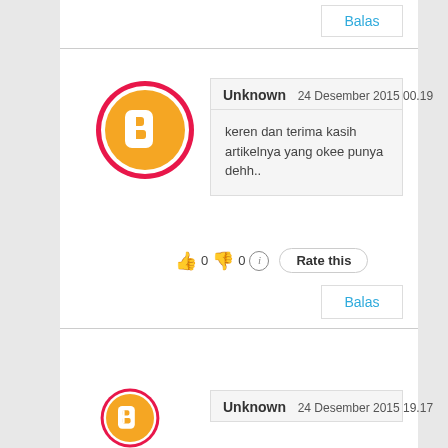[Figure (screenshot): Blogger user avatar - orange circle with pink border and white B logo]
Unknown  24 Desember 2015 00.19
keren dan terima kasih artikelnya yang okee punya dehh..
👍 0 👎 0 ℹ Rate this
Balas
[Figure (screenshot): Blogger user avatar - orange circle with pink border and white B logo (partial)]
Unknown  24 Desember 2015 19.17